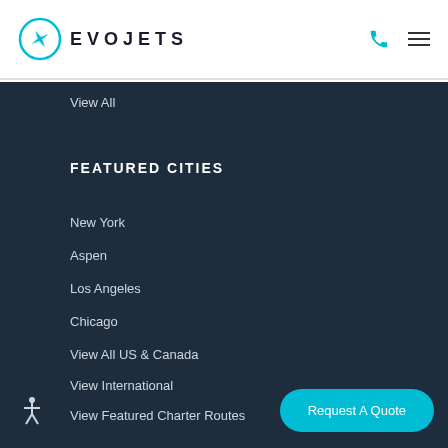EVOJETS
View All
FEATURED CITIES
New York
Aspen
Los Angeles
Chicago
View All US & Canada
View International
View Featured Charter Routes
Request A Quote